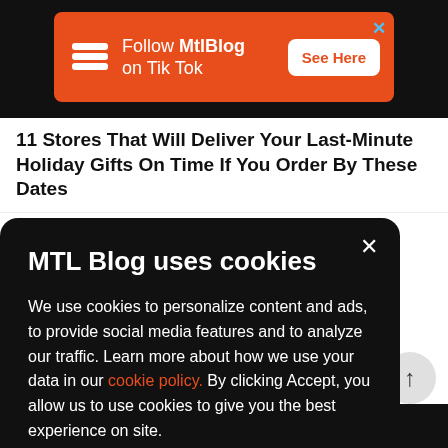[Figure (screenshot): Orange advertisement banner for MtlBlog on TikTok with logo, text and 'See Here' button on black background]
11 Stores That Will Deliver Your Last-Minute Holiday Gifts On Time If You Order By These Dates
MTL Blog uses cookies
We use cookies to personalize content and ads, to provide social media features and to analyze our traffic. Learn more about how we use your data in our cookie policy. By clicking Accept, you allow us to use cookies to give you the best experience on site.